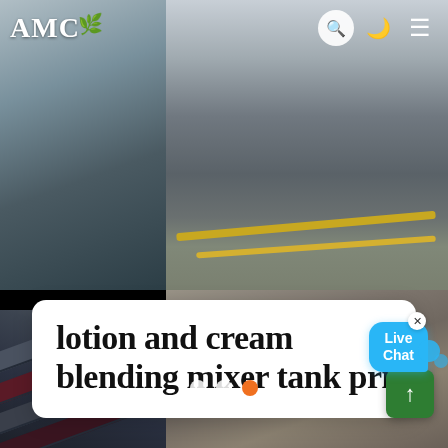[Figure (screenshot): AMC website screenshot showing industrial equipment/mining site photos in a two-column grid layout with a search icon, moon icon, and hamburger menu in the navigation bar]
AMC
lotion and cream blending mixer tank pri
[Figure (illustration): Live Chat speech bubble icon in blue with white text]
x
[Figure (other): Slider pagination dots: two white circles and one orange circle indicating slide 3 of 3]
[Figure (other): Green upload/scroll-to-top button with upward arrow icon]